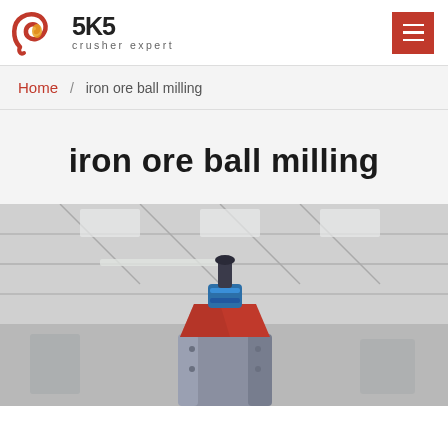SKS crusher expert
Home / iron ore ball milling
iron ore ball milling
[Figure (photo): Industrial ball mill equipment photographed from below in a factory/warehouse setting. A large grey cylindrical mill body is visible with a red funnel/chute component and blue fittings at the top. Industrial roof structure with skylights visible in the background.]